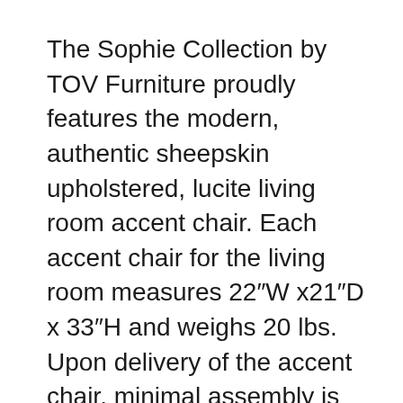The Sophie Collection by TOV Furniture proudly features the modern, authentic sheepskin upholstered, lucite living room accent chair. Each accent chair for the living room measures 22″W x21″D x 33″H and weighs 20 lbs. Upon delivery of the accent chair, minimal assembly is required. The upholstered accent chairs for the living room are constructed with a durable and unyielding, sleek lucite leg base. The legs infuse the accent chair with style as well as strength. The modern, living room accent chair is upholstered in elegant and stunning, genuine sheepskin. This results is an unfathomably luxurious, contemporary upholstered accent chair. Each white accent chair is carefully crafted and designed